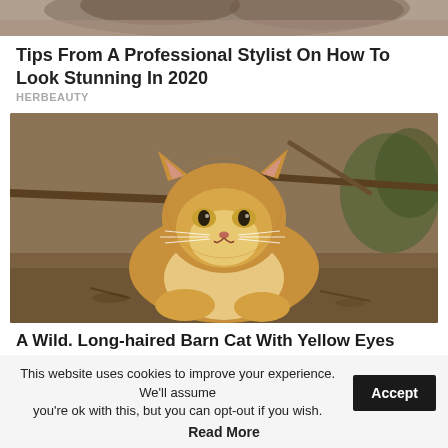[Figure (photo): Top portion of a photo showing a person with brown hair, partially cropped]
Tips From A Professional Stylist On How To Look Stunning In 2020
HERBEAUTY
[Figure (photo): A wild, long-haired orange/ginger barn cat with yellow eyes lying on the ground beneath tree branches]
A Wild. Long-haired Barn Cat With Yellow Eyes
This website uses cookies to improve your experience. We'll assume you're ok with this, but you can opt-out if you wish.
Accept
Read More